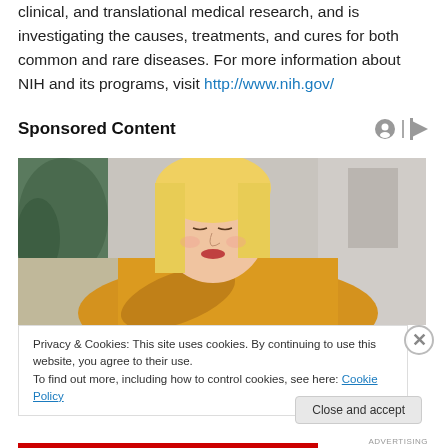clinical, and translational medical research, and is investigating the causes, treatments, and cures for both common and rare diseases. For more information about NIH and its programs, visit http://www.nih.gov/
Sponsored Content
[Figure (photo): A blonde woman in a yellow knit sweater looking down, appearing stressed or sad, with a plant and furniture visible in the background.]
Privacy & Cookies: This site uses cookies. By continuing to use this website, you agree to their use.
To find out more, including how to control cookies, see here: Cookie Policy
Close and accept